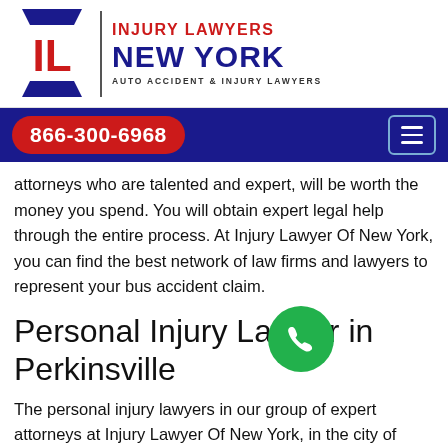[Figure (logo): Injury Lawyers New York logo with IL monogram icon, red and dark blue text, tagline AUTO ACCIDENT & INJURY LAWYERS]
866-300-6968
attorneys who are talented and expert, will be worth the money you spend. You will obtain expert legal help through the entire process. At Injury Lawyer Of New York, you can find the best network of law firms and lawyers to represent your bus accident claim.
Personal Injury Lawyer in Perkinsville
The personal injury lawyers in our group of expert attorneys at Injury Lawyer Of New York, in the city of Perkinsville deal with all cases in which you as the plaintiff have faced any injuries which caused you bodily harm, emotional wounds, or property loss. Hiring any law firm among our Personal Injury Attorneys group, assures you of the best legal assistance possible.